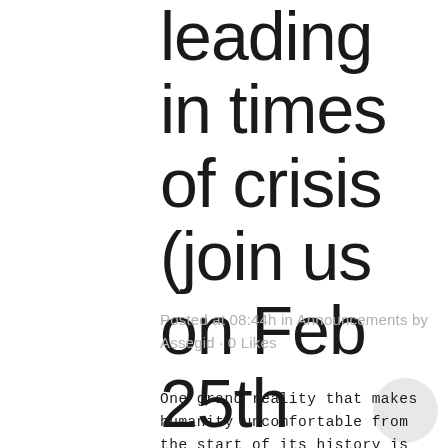leading in times of crisis (join us on Feb 25th 2022)
Posted at 08:44h in Announcements by Assegid · 0 Likes
One grand reality that makes humanity uncomfortable from the start of its history is time. It is so dictatorial and